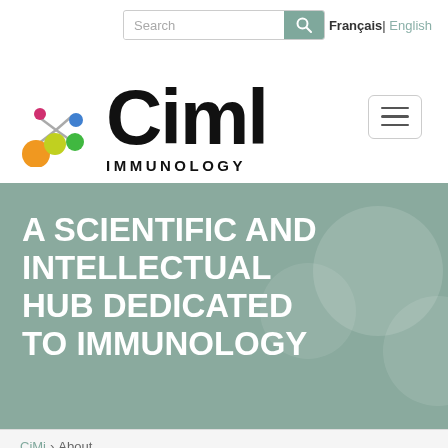[Figure (screenshot): Website screenshot of Ciml Immunology homepage showing search bar, language toggle (Français | English), the Ciml Immunology logo with molecule graphic, a hamburger menu button, a teal hero banner with the text 'A SCIENTIFIC AND INTELLECTUAL HUB DEDICATED TO IMMUNOLOGY', and a bottom navigation strip.]
A SCIENTIFIC AND INTELLECTUAL HUB DEDICATED TO IMMUNOLOGY